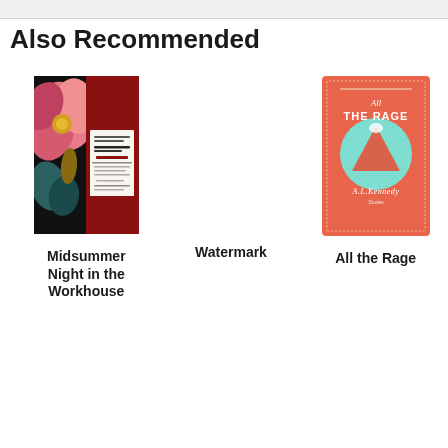Also Recommended
[Figure (illustration): Book cover: Midsummer Night in the Workhouse — dark floral background with large pink flower, red lower half, white label with text]
Midsummer Night in the Workhouse
Watermark
[Figure (illustration): Book cover: All the Rage by A.L. Kennedy — coral/orange background with teal circle and geometric mountain/triangle shape, dotted border]
All the Rage